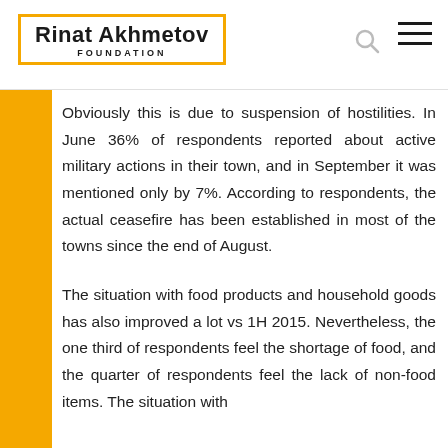Rinat Akhmetov FOUNDATION
Obviously this is due to suspension of hostilities. In June 36% of respondents reported about active military actions in their town, and in September it was mentioned only by 7%. According to respondents, the actual ceasefire has been established in most of the towns since the end of August.
The situation with food products and household goods has also improved a lot vs 1H 2015. Nevertheless, the one third of respondents feel the shortage of food, and the quarter of respondents feel the lack of non-food items. The situation with